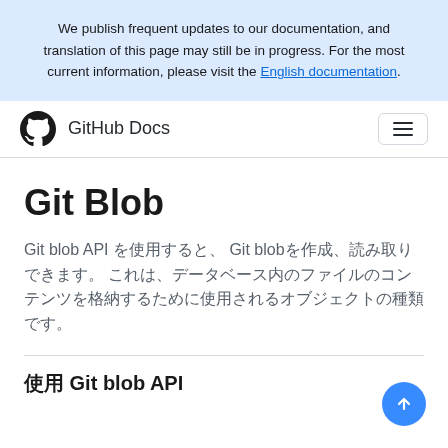We publish frequent updates to our documentation, and translation of this page may still be in progress. For the most current information, please visit the English documentation.
GitHub Docs
Git Blob
Git blob API を使用すると、 Git blobを作成、読み取りできます。 これは、データベース内のファイルのコンテンツを格納するために使用されるオブジェクトの種類です。
使用 Git blob API